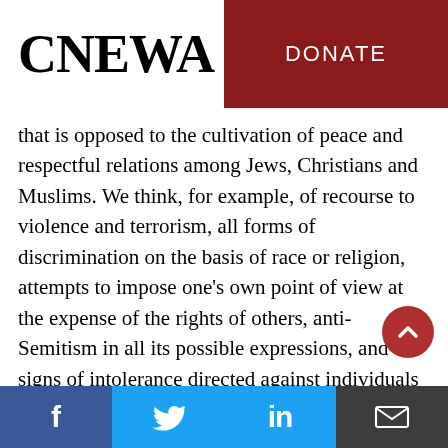CNEWA | DONATE
that is opposed to the cultivation of peace and respectful relations among Jews, Christians and Muslims. We think, for example, of recourse to violence and terrorism, all forms of discrimination on the basis of race or religion, attempts to impose one’s own point of view at the expense of the rights of others, anti-Semitism in all its possible expressions, and signs of intolerance directed against individuals or places of worship, be they Jewish, Christian or Muslim.
Social media links: Facebook, Twitter, LinkedIn, Email